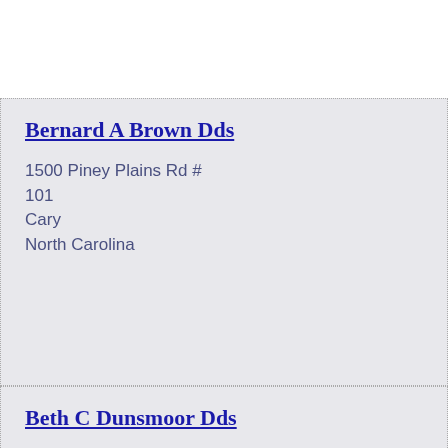Bernard A Brown Dds
1500 Piney Plains Rd # 101
Cary
North Carolina
Beth C Dunsmoor Dds
2771 NC Highway 55
Cary
North Carolina
Bradford D Pressley